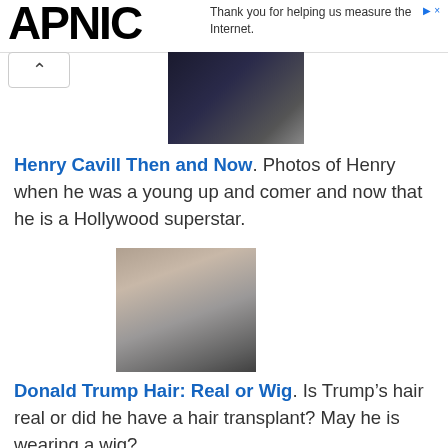APNIC
Thank you for helping us measure the Internet.
[Figure (photo): Partially visible photo at top, dark background with draped fabric]
Henry Cavill Then and Now. Photos of Henry when he was a young up and comer and now that he is a Hollywood superstar.
[Figure (photo): Photo of a man in a suit holding a white bird (dove), portrait style]
Donald Trump Hair: Real or Wig. Is Trump's hair real or did he have a hair transplant? May he is wearing a wig?